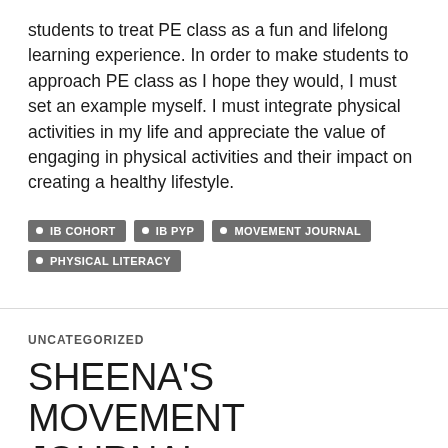students to treat PE class as a fun and lifelong learning experience. In order to make students to approach PE class as I hope they would, I must set an example myself. I must integrate physical activities in my life and appreciate the value of engaging in physical activities and their impact on creating a healthy lifestyle.
IB COHORT
IB PYP
MOVEMENT JOURNAL
PHYSICAL LITERACY
UNCATEGORIZED
SHEENA'S MOVEMENT JOURNAL – SEPTEMBER 23RD